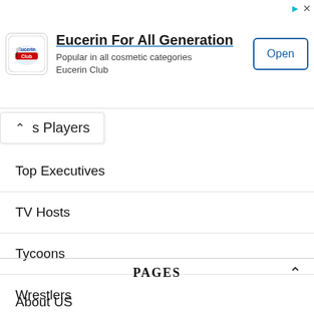[Figure (infographic): Advertisement banner for Eucerin Club. Shows Eucerin Club logo on the left, bold text 'Eucerin For All Generation', subtitle 'Popular in all cosmetic categories / Eucerin Club', and an 'Open' button on the right. Top-right has close/ad icons.]
s Players
Top Executives
TV Hosts
Tycoons
Wrestlers
PAGES
About US
Contact US